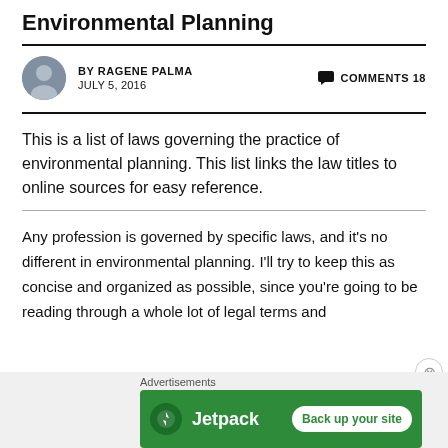Environmental Planning
BY RAGENE PALMA  JULY 5, 2016  COMMENTS 18
This is a list of laws governing the practice of environmental planning. This list links the law titles to online sources for easy reference.
Any profession is governed by specific laws, and it's no different in environmental planning. I'll try to keep this as concise and organized as possible, since you're going to be reading through a whole lot of legal terms and
[Figure (other): Jetpack advertisement banner with 'Back up your site' button]